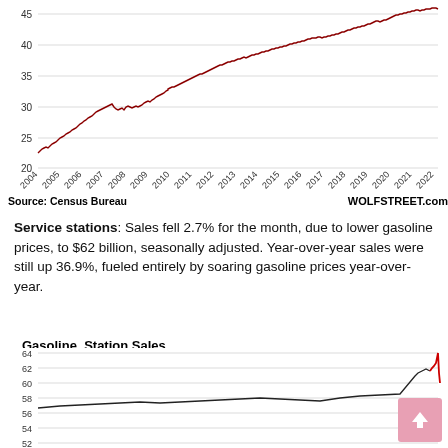[Figure (continuous-plot): Line chart showing a long-term trend from 2004 to 2022, values rising from about 23 to about 46, with a dark red line on a white background with gridlines at 20, 25, 30, 35, 40, 45.]
Source: Census Bureau   WOLFSTREET.com
Service stations: Sales fell 2.7% for the month, due to lower gasoline prices, to $62 billion, seasonally adjusted. Year-over-year sales were still up 36.9%, fueled entirely by soaring gasoline prices year-over-year.
Gasoline Station Sales
Billion $, seasonally adjusted
[Figure (continuous-plot): Partial line chart showing gasoline station sales in billion dollars, seasonally adjusted, with y-axis labels 52, 54, 56, 58, 60, 62, 64. The visible portion shows a line at approximately 62 with a sharp red spike upward near 2022.]